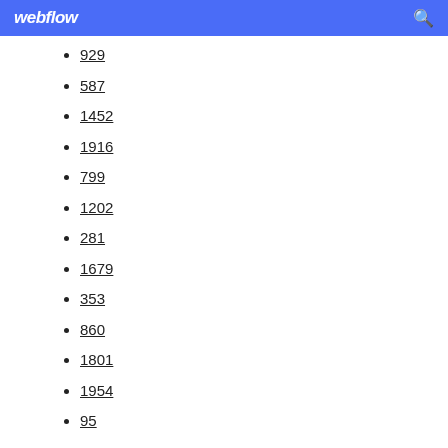webflow
929
587
1452
1916
799
1202
281
1679
353
860
1801
1954
95